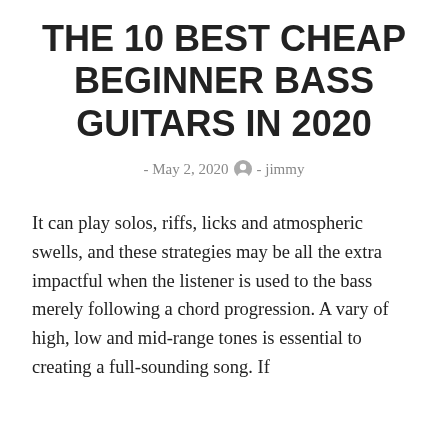THE 10 BEST CHEAP BEGINNER BASS GUITARS IN 2020
- May 2, 2020  - jimmy
It can play solos, riffs, licks and atmospheric swells, and these strategies may be all the extra impactful when the listener is used to the bass merely following a chord progression. A vary of high, low and mid-range tones is essential to creating a full-sounding song. If